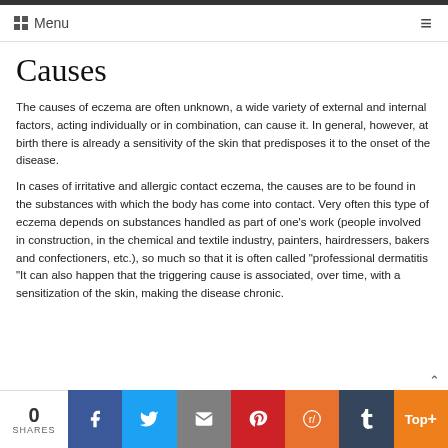Menu
Causes
The causes of eczema are often unknown, a wide variety of external and internal factors, acting individually or in combination, can cause it. In general, however, at birth there is already a sensitivity of the skin that predisposes it to the onset of the disease.
In cases of irritative and allergic contact eczema, the causes are to be found in the substances with which the body has come into contact. Very often this type of eczema depends on substances handled as part of one's work (people involved in construction, in the chemical and textile industry, painters, hairdressers, bakers and confectioners, etc.), so much so that it is often called "professional dermatitis "It can also happen that the triggering cause is associated, over time, with a sensitization of the skin, making the disease chronic.
0 SHARES | Facebook | Twitter | Email | Pinterest | Reddit | Tumblr | Top+